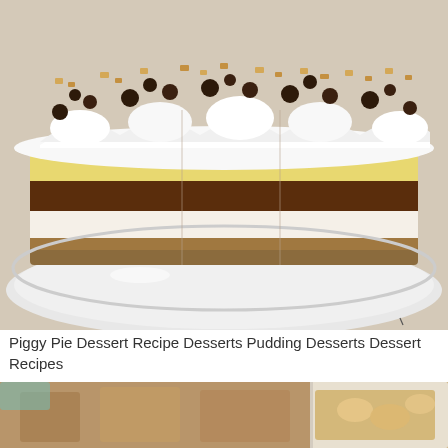[Figure (photo): Layered dessert pie (Piggy Pie) in a white dish, showing layers of whipped cream, yellow pudding, chocolate/caramel layer, cream cheese layer, and a nut crust. Topped with whipped cream swirls, chocolate chips, and chopped nuts.]
Piggy Pie Dessert Recipe Desserts Pudding Desserts Dessert Recipes
[Figure (photo): Partial view of a baking dish with apple pudding dessert, showing text overlay '20 Below' in italic and 'PIGGY PUDDING' in bold white letters.]